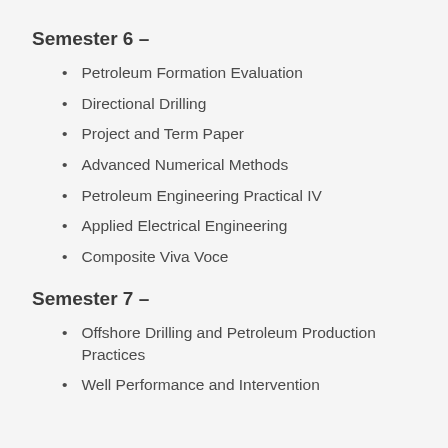Semester 6 –
Petroleum Formation Evaluation
Directional Drilling
Project and Term Paper
Advanced Numerical Methods
Petroleum Engineering Practical IV
Applied Electrical Engineering
Composite Viva Voce
Semester 7 –
Offshore Drilling and Petroleum Production Practices
Well Performance and Intervention